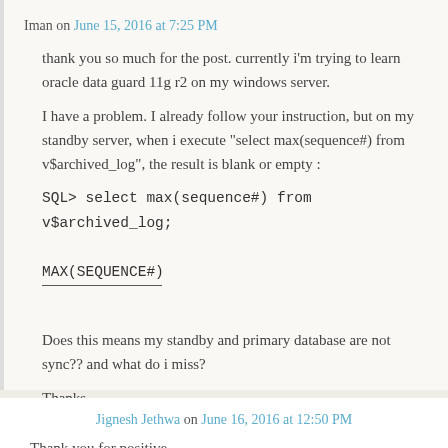Iman on June 15, 2016 at 7:25 PM
thank you so much for the post. currently i'm trying to learn oracle data guard 11g r2 on my windows server.
I have a problem. I already follow your instruction, but on my standby server, when i execute "select max(sequence#) from v$archived_log", the result is blank or empty :
SQL> select max(sequence#) from v$archived_log;

MAX(SEQUENCE#)
——————
Does this means my standby and primary database are not sync?? and what do i miss?
Thanks,
↳ Reply
Jignesh Jethwa on June 16, 2016 at 12:50 PM
Thank you for positive...